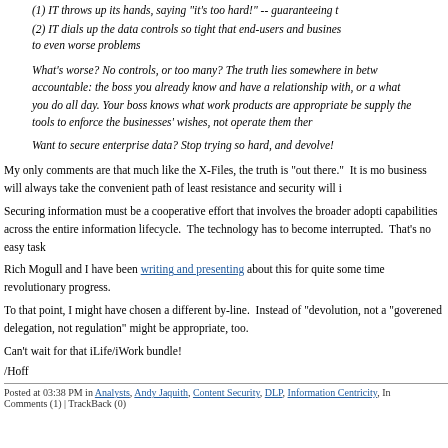(1) IT throws up its hands, saying "it's too hard!" -- guaranteeing t
(2) IT dials up the data controls so tight that end-users and busines to even worse problems
What's worse? No controls, or too many? The truth lies somewhere in betw accountable: the boss you already know and have a relationship with, or a what you do all day. Your boss knows what work products are appropriate be supply the tools to enforce the businesses' wishes, not operate them ther
Want to secure enterprise data? Stop trying so hard, and devolve!
My only comments are that much like the X-Files, the truth is "out there." It is mo business will always take the convenient path of least resistance and security will i
Securing information must be a cooperative effort that involves the broader adopti capabilities across the entire information lifecycle. The technology has to become interrupted. That's no easy task
Rich Mogull and I have been writing and presenting about this for quite some time revolutionary progress.
To that point, I might have chosen a different by-line. Instead of "devolution, not a "goverened delegation, not regulation" might be appropriate, too.
Can't wait for that iLife/iWork bundle!
/Hoff
Posted at 03:38 PM in Analysts, Andy Jaquith, Content Security, DLP, Information Centricity, In Comments (1) | TrackBack (0)